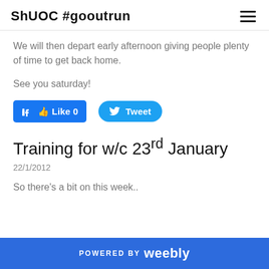ShUOC #gooutrun
We will then depart early afternoon giving people plenty of time to get back home.
See you saturday!
[Figure (other): Social sharing buttons: Facebook Like (0) and Twitter Tweet]
Training for w/c 23rd January
22/1/2012
So there's a bit on this week..
POWERED BY weebly